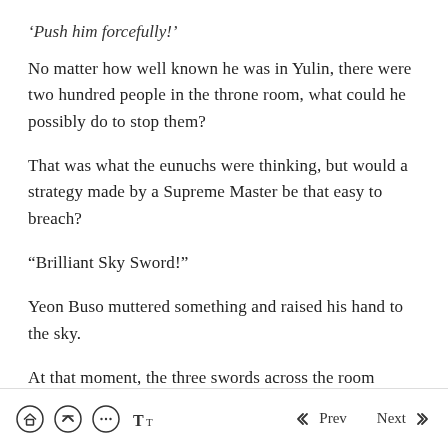‘Push him forcefully!’
No matter how well known he was in Yulin, there were two hundred people in the throne room, what could he possibly do to stop them?
That was what the eunuchs were thinking, but would a strategy made by a Supreme Master be that easy to breach?
“Brilliant Sky Sword!”
Yeon Buso muttered something and raised his hand to the sky.
At that moment, the three swords across the room
Home | Scroll Up | Comments | Text | Prev | Next